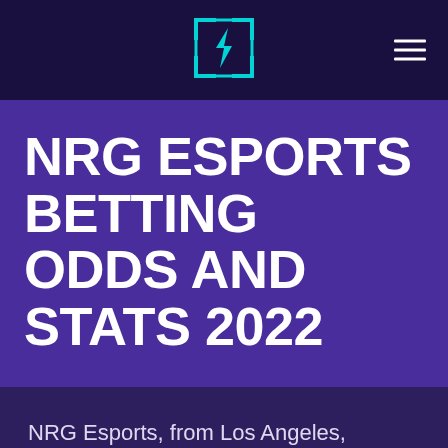[NRG Esports logo and navigation]
NRG ESPORTS BETTING ODDS AND STATS 2022
NRG Esports, from Los Angeles, California, boast the most-watched Fortnite roster, the Rocket League world champions, plus star line-ups in Apex Legends, Call of Duty and Overwatch. In this article, we tell you where to find NRG esports betting odds and stats so you can bet on